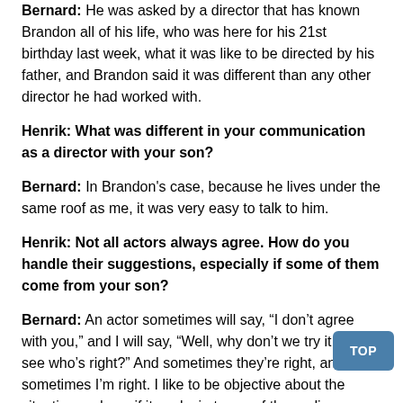Bernard: He was asked by a director that has known Brandon all of his life, who was here for his 21st birthday last week, what it was like to be directed by his father, and Brandon said it was different than any other director he had worked with.
Henrik: What was different in your communication as a director with your son?
Bernard: In Brandon's case, because he lives under the same roof as me, it was very easy to talk to him.
Henrik: Not all actors always agree. How do you handle their suggestions, especially if some of them come from your son?
Bernard: An actor sometimes will say, “I don’t agree with you,” and I will say, “Well, why don’t we try it and see who’s right?” And sometimes they’re right, and sometimes I’m right. I like to be objective about the situation and see if it works in terms of the audience. When we try something, it’s really in front of an audience. That’s why we’re so fortunate to have nine previews, so those things can be worked out, and we can hear what the response is from the audience.